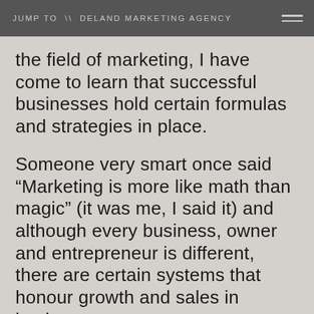JUMP TO \\ DELAND MARKETING AGENCY
the field of marketing, I have come to learn that successful businesses hold certain formulas and strategies in place.
Someone very smart once said “Marketing is more like math than magic” (it was me, I said it) and although every business, owner and entrepreneur is different, there are certain systems that honour growth and sales in business.
However, this is never a one size fits all approach when working with myself or even my full-service marketing and